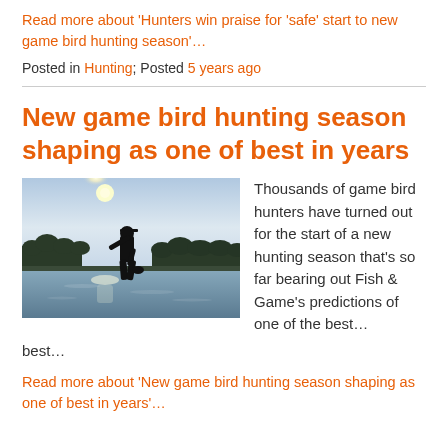Read more about ‘Hunters win praise for ‘safe’ start to new game bird hunting season’…
Posted in Hunting; Posted 5 years ago
New game bird hunting season shaping as one of best in years
[Figure (photo): Silhouette of a hunter standing in shallow water at a lake at sunset/sunrise, with tree line in background and bright sun reflection on water]
Thousands of game bird hunters have turned out for the start of a new hunting season that’s so far bearing out Fish & Game’s predictions of one of the best…
Read more about ‘New game bird hunting season shaping as one of best in years’…